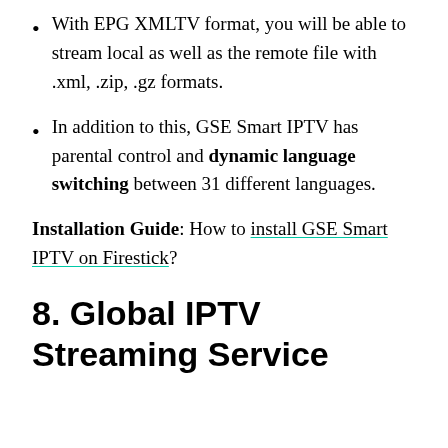With EPG XMLTV format, you will be able to stream local as well as the remote file with .xml, .zip, .gz formats.
In addition to this, GSE Smart IPTV has parental control and dynamic language switching between 31 different languages.
Installation Guide: How to install GSE Smart IPTV on Firestick?
8. Global IPTV Streaming Service